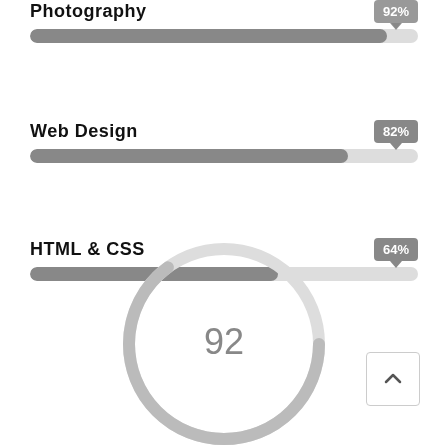Photography
[Figure (bar-chart): Photography]
Web Design
[Figure (bar-chart): Web Design]
HTML & CSS
[Figure (bar-chart): HTML & CSS]
[Figure (donut-chart): 92]